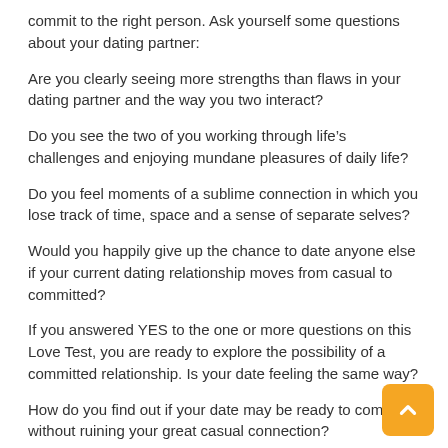commit to the right person. Ask yourself some questions about your dating partner:
Are you clearly seeing more strengths than flaws in your dating partner and the way you two interact?
Do you see the two of you working through life’s challenges and enjoying mundane pleasures of daily life?
Do you feel moments of a sublime connection in which you lose track of time, space and a sense of separate selves?
Would you happily give up the chance to date anyone else if your current dating relationship moves from casual to committed?
If you answered YES to the one or more questions on this Love Test, you are ready to explore the possibility of a committed relationship. Is your date feeling the same way?
How do you find out if your date may be ready to commit without ruining your great casual connection?